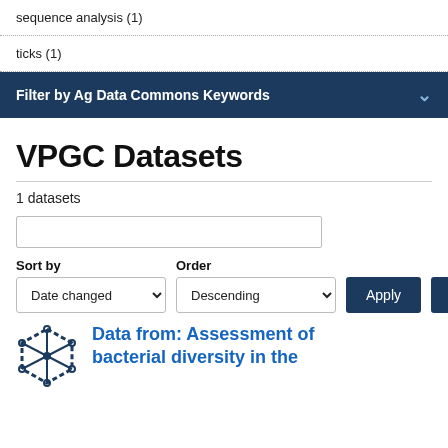sequence analysis (1)
ticks (1)
Filter by Ag Data Commons Keywords
VPGC Datasets
1 datasets
Sort by
Date changed
Order
Descending
Apply
Reset
Data from: Assessment of bacterial diversity in the